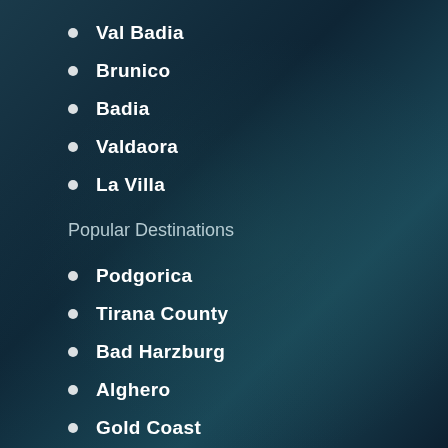Val Badia
Brunico
Badia
Valdaora
La Villa
Popular Destinations
Podgorica
Tirana County
Bad Harzburg
Alghero
Gold Coast
Ubud
St Julian's